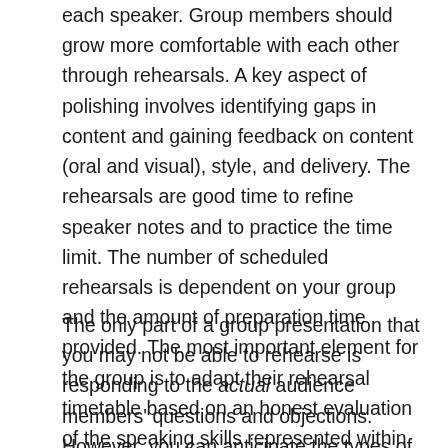each speaker. Group members should grow more comfortable with each other through rehearsals. A key aspect of polishing involves identifying gaps in content and gaining feedback on content (oral and visual), style, and delivery. The rehearsals are good time to refine speaker notes and to practice the time limit. The number of scheduled rehearsals is dependent on your group and the amount of preparation time provided. The most important element for the group is to adapt their rehearsal timetable based on an honest evaluation of the speaking skills represented within the group.
The only part of a group presentation that you may not be able to rehearse is responding to the actual audience members' questions and objections. However, you can anticipate the types of questions and practice a simple strategy of how you will respond— repeating the question, stating who from the group will respond, and